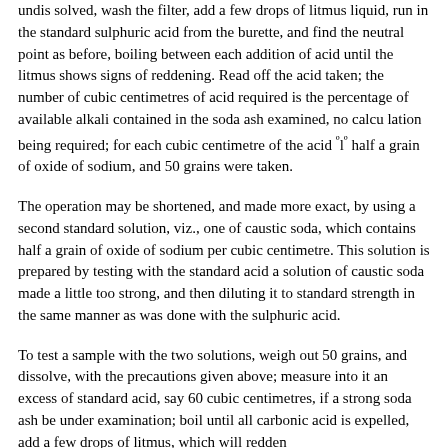undis solved, wash the filter, add a few drops of litmus liquid, run in the standard sulphuric acid from the burette, and find the neutral point as before, boiling between each addition of acid until the litmus shows signs of reddening. Read off the acid taken; the number of cubic centimetres of acid required is the percentage of available alkali contained in the soda ash examined, no calcu lation being required; for each cubic centimetre of the acid ºlº half a grain of oxide of sodium, and 50 grains were taken.
The operation may be shortened, and made more exact, by using a second standard solution, viz., one of caustic soda, which contains half a grain of oxide of sodium per cubic centimetre. This solution is prepared by testing with the standard acid a solution of caustic soda made a little too strong, and then diluting it to standard strength in the same manner as was done with the sulphuric acid.
To test a sample with the two solutions, weigh out 50 grains, and dissolve, with the precautions given above; measure into it an excess of standard acid, say 60 cubic centimetres, if a strong soda ash be under examination; boil until all carbonic acid is expelled, add a few drops of litmus, which will redden